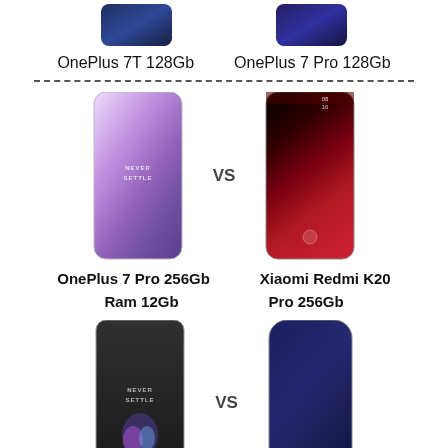[Figure (photo): Top portions of two smartphones - OnePlus 7T and OnePlus 7 Pro in blue/dark colorways]
OnePlus 7T 128Gb    OnePlus 7 Pro 128Gb
[Figure (photo): OnePlus 7 Pro 256Gb vs Xiaomi Redmi K20 Pro - two smartphones side by side with VS label]
OnePlus 7 Pro 256Gb    Xiaomi Redmi K20
Ram 12Gb    Pro 256Gb
[Figure (photo): OnePlus 5 vs Samsung Galaxy S8 - two smartphones side by side with VS label]